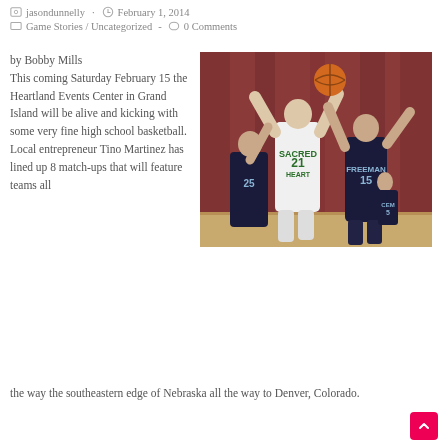jasondunnelly · February 1, 2014
Game Stories / Uncategorized - 0 Comments
by Bobby Mills
This coming Saturday February 15 the Heartland Events Center in Grand Island will be alive and kicking with some very fine high school basketball. Local entrepreneur Tino Martinez has lined up 8 match-ups that will feature teams all the way the southeastern edge of Nebraska all the way to Denver, Colorado.
[Figure (photo): Basketball game action photo showing player #21 in Sacred Heart white jersey shooting over defenders wearing Freeman #15 black jerseys, with red curtain backdrop]
the way the southeastern edge of Nebraska all the way to Denver, Colorado.